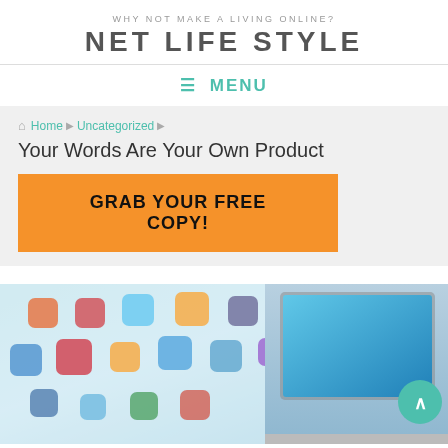WHY NOT MAKE A LIVING ONLINE?
NET LIFE STYLE
☰ MENU
Home ▶ Uncategorized ▶
Your Words Are Your Own Product
GRAB YOUR FREE COPY!
[Figure (photo): Blurred background with colorful app icons overlaid on glass, with a laptop on the right side showing a blue screen]